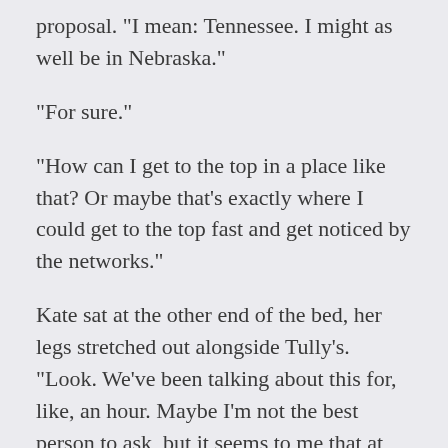proposal. "I mean: Tennessee. I might as well be in Nebraska."
"For sure."
"How can I get to the top in a place like that? Or maybe that's exactly where I could get to the top fast and get noticed by the networks."
Kate sat at the other end of the bed, her legs stretched out alongside Tully's. "Look. We've been talking about this for, like, an hour. Maybe I'm not the best person to ask, but it seems to me that at some point you've got to at least mention love."
"You might be right. I mean, if I loved him." Oh—